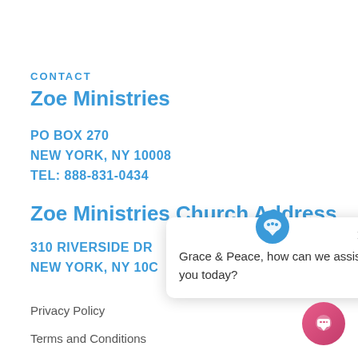CONTACT
Zoe Ministries
PO BOX 270
NEW YORK, NY 10008
TEL: 888-831-0434
Zoe Ministries Church Address
310 RIVERSIDE DR
NEW YORK, NY 10C…
Privacy Policy
Terms and Conditions
[Figure (other): Chat popup overlay with logo icon and message: Grace & Peace, how can we assist you today? with close button. Pink chat button in bottom right corner.]